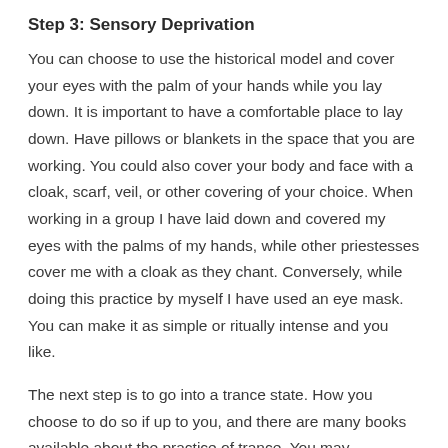Step 3: Sensory Deprivation
You can choose to use the historical model and cover your eyes with the palm of your hands while you lay down. It is important to have a comfortable place to lay down. Have pillows or blankets in the space that you are working. You could also cover your body and face with a cloak, scarf, veil, or other covering of your choice. When working in a group I have laid down and covered my eyes with the palms of my hands, while other priestesses cover me with a cloak as they chant. Conversely, while doing this practice by myself I have used an eye mask. You can make it as simple or ritually intense and you like.
The next step is to go into a trance state. How you choose to do so if up to you, and there are many books available about the practice of trance. You may